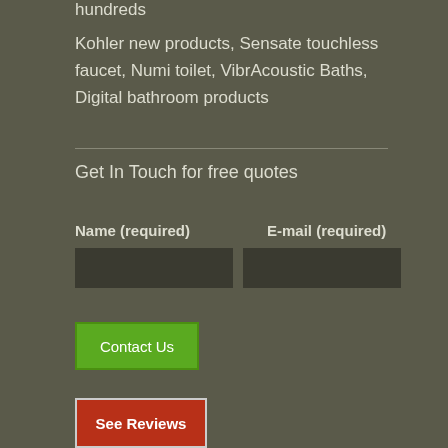hundreds
Kohler new products, Sensate touchless faucet, Numi toilet, VibrAcoustic Baths, Digital bathroom products
Get In Touch for free quotes
Name (required)   E-mail (required)
Contact Us
See Reviews